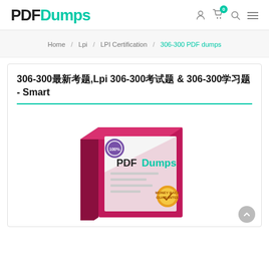PDFDumps
Home / Lpi / LPI Certification / 306-300 PDF dumps
306-300最新考题,Lpi 306-300考试题 & 306-300学习题 - Smart
[Figure (illustration): PDFDumps product box illustration showing a red/pink exam prep book with PDFDumps logo and a gold/green certification badge]